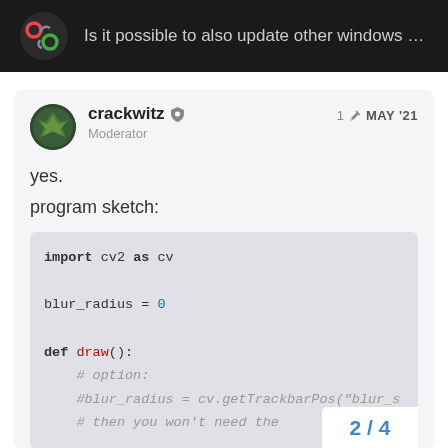Is it possible to also update other windows wh...
crackwitz
Moderator
1 MAY '21
yes.
program sketch:
import cv2 as cv

blur_radius = 0

def draw():
    # option:
    #blur_radius = cv.getTrackbarPos("blur_s
    # then you won't need the
2 / 4